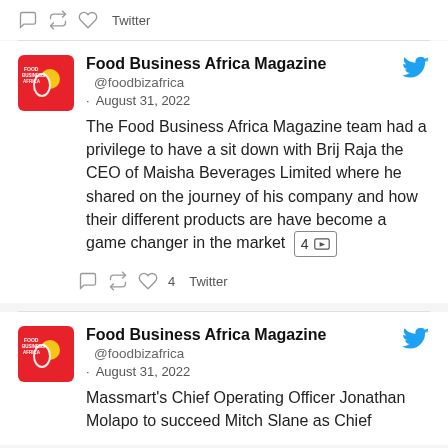[Figure (screenshot): Twitter action bar with reply, retweet, like icons and 'Twitter' label]
[Figure (screenshot): Tweet from Food Business Africa Magazine (@foodbizafrica), August 31 2022: 'The Food Business Africa Magazine team had a privilege to have a sit down with Brij Raja the CEO of Maisha Beverages Limited where he shared on the journey of his company and how their different products are have become a game changer in the market' with 4 image badge. Action bar shows 4 likes.]
[Figure (screenshot): Second tweet from Food Business Africa Magazine (@foodbizafrica), August 31 2022: 'Massmart's Chief Operating Officer Jonathan Molapo to succeed Mitch Slane as Chief' (truncated)]